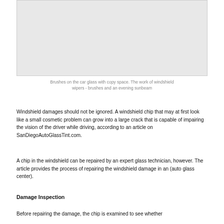[Figure (photo): Large empty/placeholder image box — photo of brushes on car glass with copy space, showing windshield wipers and evening sunbeam]
Brushes on the car glass with copy space. The work of windshield wipers - brushes and an evening sunbeam
Windshield damages should not be ignored. A windshield chip that may at first look like a small cosmetic problem can grow into a large crack that is capable of impairing the vision of the driver while driving, according to an article on SanDiegoAutoGlassTint.com.
A chip in the windshield can be repaired by an expert glass technician, however. The article provides the process of repairing the windshield damage in an (auto glass center).
Damage Inspection
Before repairing the damage, the chip is examined to see whether